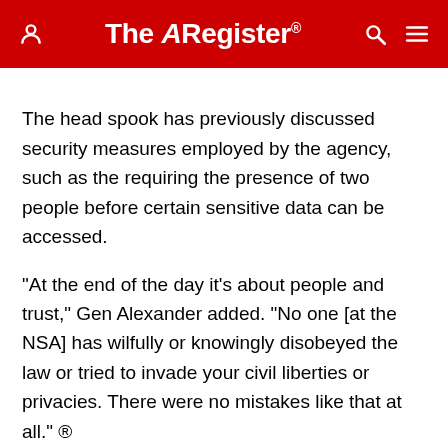The Register
The head spook has previously discussed security measures employed by the agency, such as the requiring the presence of two people before certain sensitive data can be accessed.
"At the end of the day it's about people and trust," Gen Alexander added. "No one [at the NSA] has wilfully or knowingly disobeyed the law or tried to invade your civil liberties or privacies. There were no mistakes like that at all." ®
Whitepaper: Top 5 Tips For Navigating Your SASE Journey